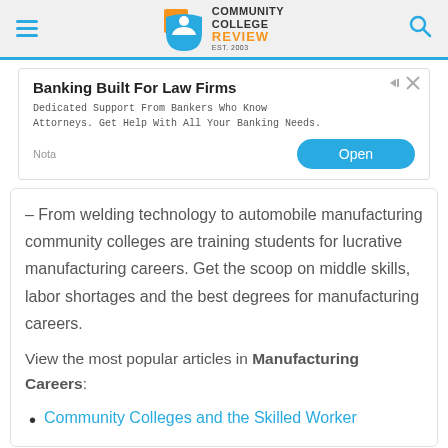Community College Review — Est. 2003
[Figure (advertisement): Ad banner: Banking Built For Law Firms — Dedicated Support From Bankers Who Know Attorneys. Get Help With All Your Banking Needs. Nota | Open button]
– From welding technology to automobile manufacturing community colleges are training students for lucrative manufacturing careers. Get the scoop on middle skills, labor shortages and the best degrees for manufacturing careers.
View the most popular articles in Manufacturing Careers:
Community Colleges and the Skilled Worker